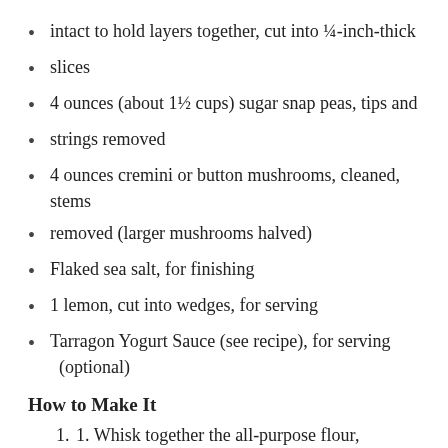intact to hold layers together, cut into ¼-inch-thick
slices
4 ounces (about 1½ cups) sugar snap peas, tips and
strings removed
4 ounces cremini or button mushrooms, cleaned, stems
removed (larger mushrooms halved)
Flaked sea salt, for finishing
1 lemon, cut into wedges, for serving
Tarragon Yogurt Sauce (see recipe), for serving (optional)
How to Make It
1. Whisk together the all-purpose flour, semolina flour, baking powder, and salt in a medium-size bowl. Place the mixture in a shallow rectangular dish or pan that will